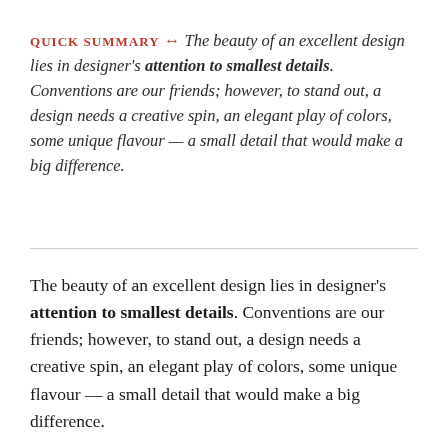QUICK SUMMARY ↔ The beauty of an excellent design lies in designer's attention to smallest details. Conventions are our friends; however, to stand out, a design needs a creative spin, an elegant play of colors, some unique flavour — a small detail that would make a big difference.
The beauty of an excellent design lies in designer's attention to smallest details. Conventions are our friends; however, to stand out, a design needs a creative spin, an elegant play of colors, some unique flavour — a small detail that would make a big difference.